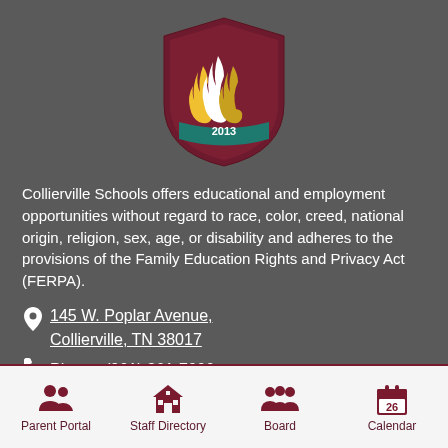[Figure (logo): Collierville Schools shield logo with flame design and year 2013]
Collierville Schools offers educational and employment opportunities without regard to race, color, creed, national origin, religion, sex, age, or disability and adheres to the provisions of the Family Education Rights and Privacy Act (FERPA).
145 W. Poplar Avenue, Collierville, TN 38017
Phone: (901) 861-7000
Parent Portal
Staff Directory
Board
Calendar